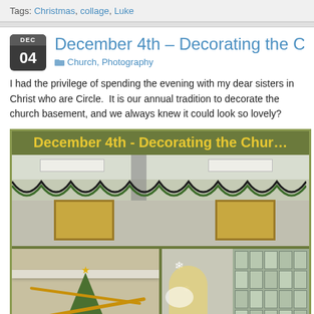Tags: Christmas, collage, Luke
December 4th – Decorating the Church
Church, Photography
I had the privilege of spending the evening with my dear sisters in Christ who are Circle.  It is our annual tradition to decorate the church basement, and we always knew it could look so lovely?
[Figure (photo): Blog post collage image showing a church basement decorated for Christmas. The collage has an olive green background with a yellow bold title 'December 4th - Decorating the Chur...' across the top, a wide photo of the decorated room with garlands, and two photos below: a Christmas tree with a gold star and garland, and an angel figure in front of a glass block window.]